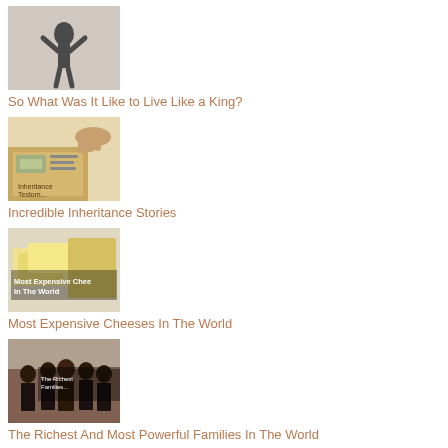[Figure (photo): Statue or figurine of a person with arms raised]
So What Was It Like to Live Like a King?
[Figure (photo): Hands holding money/documents, with text 'Incredible Inheritance Stories' or similar]
Incredible Inheritance Stories
[Figure (photo): Cheese image with text 'Most Expensive Cheeses In The World']
Most Expensive Cheeses In The World
[Figure (photo): Group of formally dressed people, richest families]
The Richest And Most Powerful Families In The World
[Figure (photo): Illustration with Platinum text and drawings]
Interesting Facts About Platinum